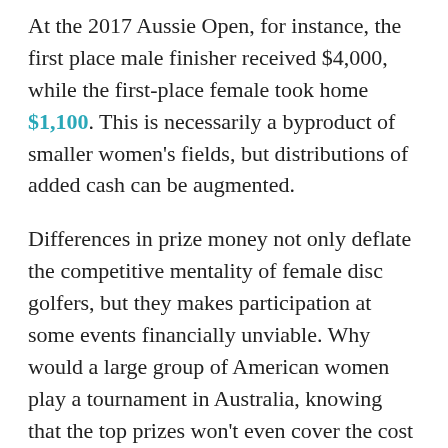At the 2017 Aussie Open, for instance, the first place male finisher received $4,000, while the first-place female took home $1,100. This is necessarily a byproduct of smaller women's fields, but distributions of added cash can be augmented.
Differences in prize money not only deflate the competitive mentality of female disc golfers, but they makes participation at some events financially unviable. Why would a large group of American women play a tournament in Australia, knowing that the top prizes won't even cover the cost of travel? The pay gap may also discourage some institutional sponsors from supporting competitive disc golf, given the equal opportunity requirements of Title IX, not to mention the public's growing distaste for gender inequality in sports.
Still, inroads have been made toward this end. While most events see women garner a lower payout due